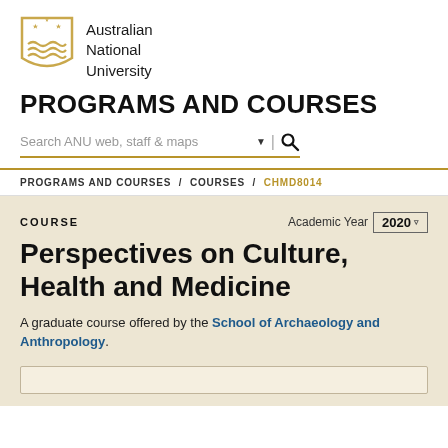[Figure (logo): Australian National University shield logo with gold crest featuring stars and wave lines]
Australian National University
PROGRAMS AND COURSES
Search ANU web, staff & maps
PROGRAMS AND COURSES / COURSES / CHMD8014
COURSE
Academic Year 2020
Perspectives on Culture, Health and Medicine
A graduate course offered by the School of Archaeology and Anthropology.